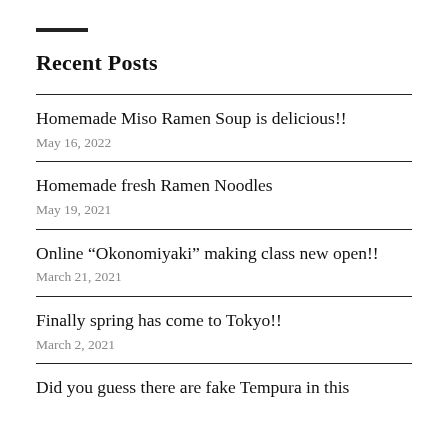Recent Posts
Homemade Miso Ramen Soup is delicious!!
May 16, 2022
Homemade fresh Ramen Noodles
May 19, 2021
Online “Okonomiyaki” making class new open!!
March 21, 2021
Finally spring has come to Tokyo!!
March 2, 2021
Did you guess there are fake Tempura in this